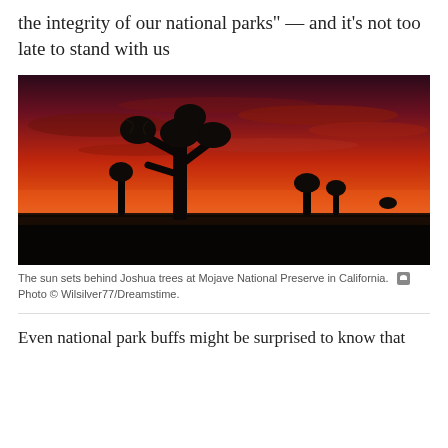the integrity of our national parks" — and it's not too late to stand with us
[Figure (photo): A dramatic sunset behind silhouetted Joshua trees at Mojave National Preserve in California. The sky is vivid red and orange.]
The sun sets behind Joshua trees at Mojave National Preserve in California.  Photo © Wilsilver77/Dreamstime.
Even national park buffs might be surprised to know that